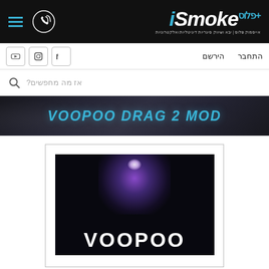iSmoke Plus - אייסמוק פלוס | יבא ושיווק סיגריות דיגיטליות ואלקטרוניות
התחבר | הירשם
אז מה מחפשים?
VOOPOO DRAG 2 MOD
[Figure (photo): Product image of VOOPOO device with purple/blue light effect on dark background, showing VOOPOO branding text at bottom]